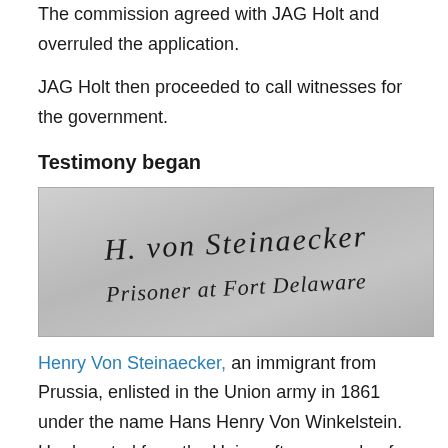The commission agreed with JAG Holt and overruled the application.
JAG Holt then proceeded to call witnesses for the government.
Testimony began
[Figure (photo): A historical handwritten signature reading 'H. von Steinaecker, Prisoner at Fort Delaware' in cursive script on aged paper background.]
Henry Von Steinaecker, an immigrant from Prussia, enlisted in the Union army in 1861 under the name Hans Henry Von Winkelstein. He deserted from the Union after a couple of months and, in 1863, joined the Confederacy. He was captured by the Union in 1864 and was held at the Old Capitol Prison and Fort Delaware. Von Steinaecker testified about having met John Wilkes Booth in 1863 in